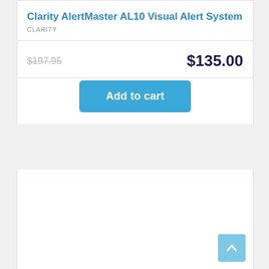Clarity AlertMaster AL10 Visual Alert System
CLARITY
$197.95
$135.00
[Figure (screenshot): Add to cart button — blue rounded rectangle with white bold text 'Add to cart']
[Figure (other): Scroll-to-top button — light blue square with upward chevron icon]